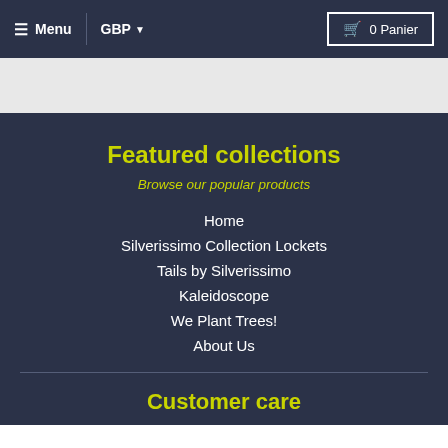≡ Menu  GBP ▼  0 Panier
Featured collections
Browse our popular products
Home
Silverissimo Collection Lockets
Tails by Silverissimo
Kaleidoscope
We Plant Trees!
About Us
Customer care